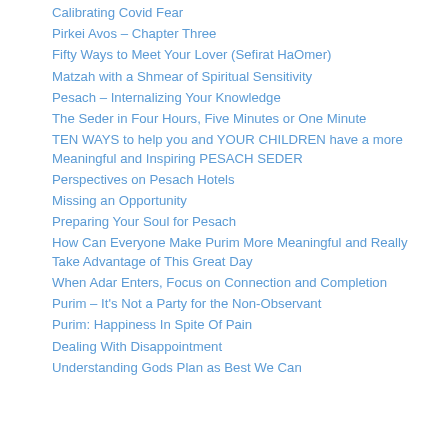Calibrating Covid Fear
Pirkei Avos – Chapter Three
Fifty Ways to Meet Your Lover (Sefirat HaOmer)
Matzah with a Shmear of Spiritual Sensitivity
Pesach – Internalizing Your Knowledge
The Seder in Four Hours, Five Minutes or One Minute
TEN WAYS to help you and YOUR CHILDREN have a more Meaningful and Inspiring PESACH SEDER
Perspectives on Pesach Hotels
Missing an Opportunity
Preparing Your Soul for Pesach
How Can Everyone Make Purim More Meaningful and Really Take Advantage of This Great Day
When Adar Enters, Focus on Connection and Completion
Purim – It's Not a Party for the Non-Observant
Purim: Happiness In Spite Of Pain
Dealing With Disappointment
Understanding Gods Plan as Best We Can